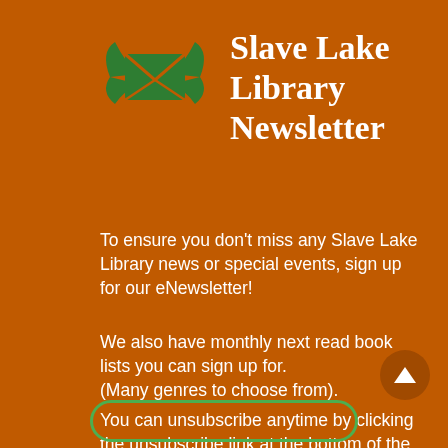[Figure (logo): Green winged envelope icon — a letter/email icon with wings, in green color on orange background]
Slave Lake Library Newsletter
To ensure you don't miss any Slave Lake Library news or special events, sign up for our eNewsletter!
We also have monthly next read book lists you can sign up for.
(Many genres to choose from).
You can unsubscribe anytime by clicking the unsubscribe link at the bottom of the emails.